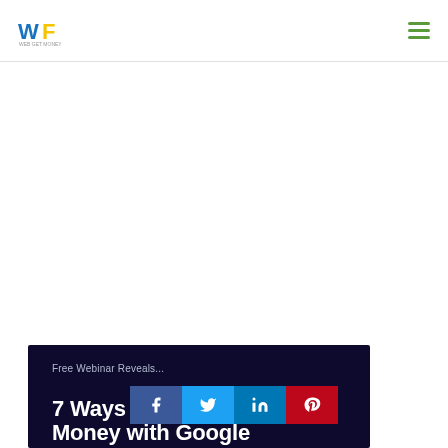[Figure (logo): WF logo with blue W and yellow/green F letters, small tagline text below]
[Figure (infographic): Hamburger menu icon with three green horizontal lines]
[Figure (screenshot): Dark navy banner with text 'Free Webinar Reveals...' and large bold text '7 Ways to Make Money with Google']
[Figure (infographic): Social sharing bar with Facebook, Twitter, LinkedIn, and Pinterest buttons]